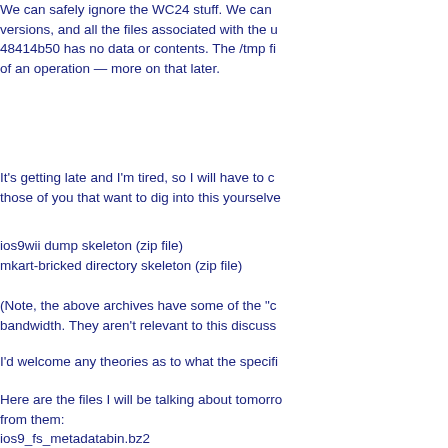We can safely ignore the WC24 stuff. We can versions, and all the files associated with the u 48414b50 has no data or contents. The /tmp fi of an operation — more on that later.
It's getting late and I'm tired, so I will have to c those of you that want to dig into this yourselve
ios9wii dump skeleton (zip file)
mkart-bricked directory skeleton (zip file)
(Note, the above archives have some of the "c bandwidth. They aren't relevant to this discuss
I'd welcome any theories as to what the specifi
Here are the files I will be talking about tomorro from them:
ios9_fs_metadatabin.bz2
mkart_fs_metadatabin.bz2
mkart-sffs.zip
Full details and files etc --> http://hackmii.com/
To read more of the post and Download, cli
Join In and Discuss Here
Submit News and Releases Here and Contact